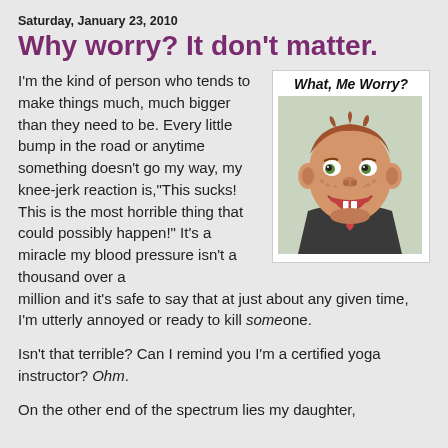Saturday, January 23, 2010
Why worry? It don't matter.
I'm the kind of person who tends to make things much, much bigger than they need to be. Every little bump in the road or anytime something doesn't go my way, my knee-jerk reaction is,"This sucks! This is the most horrible thing that could possibly happen!" It's a miracle my blood pressure isn't a thousand over a million and it's safe to say that at just about any given time, I'm utterly annoyed or ready to kill someone.
[Figure (illustration): Alfred E. Neuman cartoon character from Mad Magazine with caption 'What, Me Worry?' — a grinning freckled boy in a suit with gap teeth and big ears]
Isn't that terrible? Can I remind you I'm a certified yoga instructor? Ohm.
On the other end of the spectrum lies my daughter,